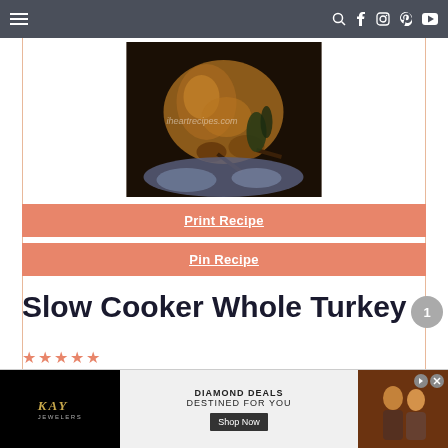Navigation bar with hamburger menu and social icons
[Figure (photo): A whole roasted turkey in a slow cooker on a dark background with a watermark reading iheartrecipes.com]
Print Recipe
Pin Recipe
Slow Cooker Whole Turkey
Here is a preview text about the recipe
[Figure (other): Kay Jewelers advertisement: DIAMOND DEALS DESTINED FOR YOU with Shop Now button and couple image]